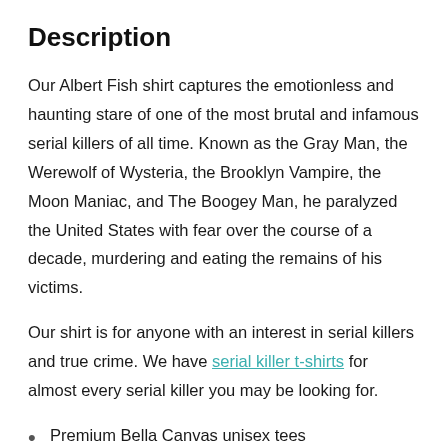Description
Our Albert Fish shirt captures the emotionless and haunting stare of one of the most brutal and infamous serial killers of all time. Known as the Gray Man, the Werewolf of Wysteria, the Brooklyn Vampire, the Moon Maniac, and The Boogey Man, he paralyzed the United States with fear over the course of a decade, murdering and eating the remains of his victims.
Our shirt is for anyone with an interest in serial killers and true crime. We have serial killer t-shirts for almost every serial killer you may be looking for.
Premium Bella Canvas unisex tees